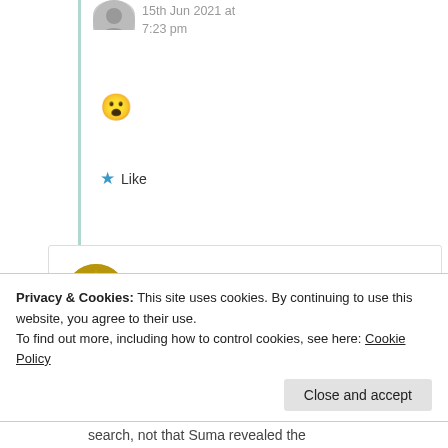15th Jun 2021 at 7:23 pm
😮
★ Like
mildredprincewelch
14th Jun 2021 at 8:24 pm
Privacy & Cookies: This site uses cookies. By continuing to use this website, you agree to their use.
To find out more, including how to control cookies, see here: Cookie Policy
Close and accept
search, not that Suma revealed the